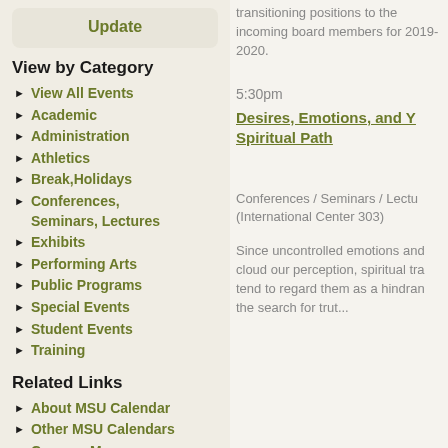Update
View by Category
View All Events
Academic
Administration
Athletics
Break,Holidays
Conferences, Seminars, Lectures
Exhibits
Performing Arts
Public Programs
Special Events
Student Events
Training
Related Links
About MSU Calendar
Other MSU Calendars
Campus Maps
transitioning positions to the incoming board members for 2019-2020.
5:30pm
Desires, Emotions, and Your Spiritual Path
Conferences / Seminars / Lectures (International Center 303)
Since uncontrolled emotions and cloud our perception, spiritual traditions tend to regard them as a hindrance in the search for trut...